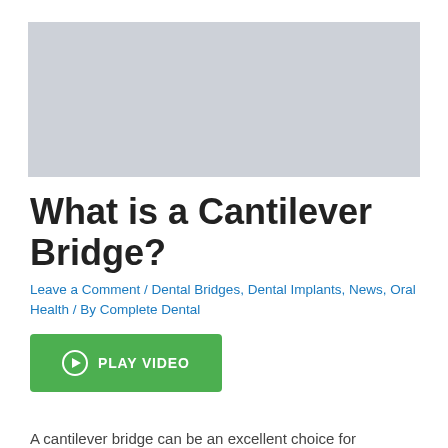[Figure (photo): Gray placeholder image for article header]
What is a Cantilever Bridge?
Leave a Comment / Dental Bridges, Dental Implants, News, Oral Health / By Complete Dental
[Figure (other): Green PLAY VIDEO button]
A cantilever bridge can be an excellent choice for replacing a missing tooth. A cantilever bridge, unlike a traditional bridge, uses a tooth on one side of the restoration for support. It can be made of ceramic or composite material.  This option is